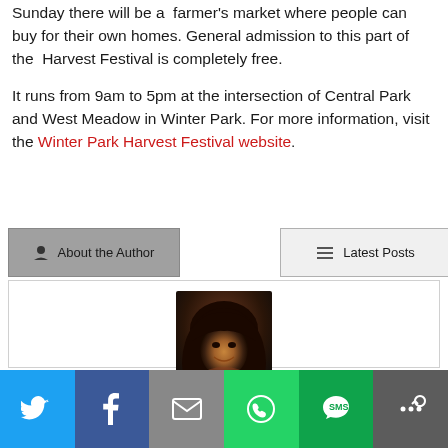Sunday there will be a  farmer's market where people can buy for their own homes. General admission to this part of the  Harvest Festival is completely free.
It runs from 9am to 5pm at the intersection of Central Park and West Meadow in Winter Park. For more information, visit the Winter Park Harvest Festival website.
[Figure (screenshot): About the Author and Latest Posts tab buttons]
[Figure (photo): Author profile photo - woman with dark hair smiling]
[Figure (infographic): Social share bar with Twitter, Facebook, Email, WhatsApp, SMS, and More buttons]